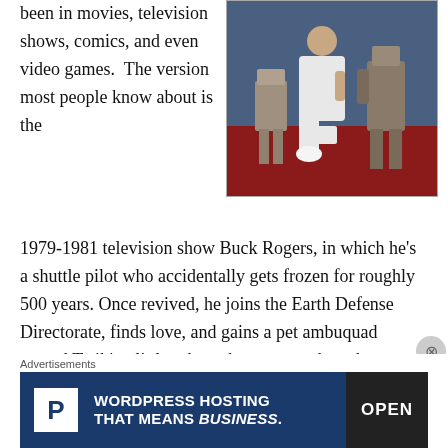been in movies, television shows, comics, and even video games.  The version most people know about is the
[Figure (photo): Photo of a person in white outfit kneeling next to robot figures from Buck Rogers TV show, on a red floor with blue background.]
1979-1981 television show Buck Rogers, in which he’s a shuttle pilot who accidentally gets frozen for roughly 500 years. Once revived, he joins the Earth Defense Directorate, finds love, and gains a pet ambuquad named Twiki, a little robot who seems to have been designed to cash in on the popularity of C3PO and R2-D2 from the newly released film Star
Advertisements
[Figure (screenshot): Advertisement banner: WordPress Hosting That Means Business with P logo and OPEN sign image.]